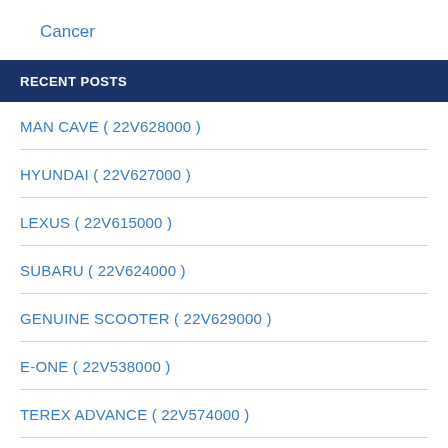Cancer
RECENT POSTS
MAN CAVE ( 22V628000 )
HYUNDAI ( 22V627000 )
LEXUS ( 22V615000 )
SUBARU ( 22V624000 )
GENUINE SCOOTER ( 22V629000 )
E-ONE ( 22V538000 )
TEREX ADVANCE ( 22V574000 )